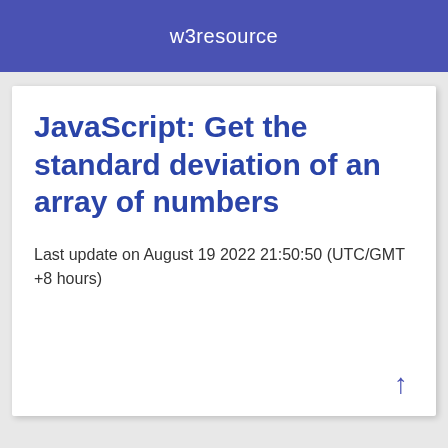w3resource
JavaScript: Get the standard deviation of an array of numbers
Last update on August 19 2022 21:50:50 (UTC/GMT +8 hours)